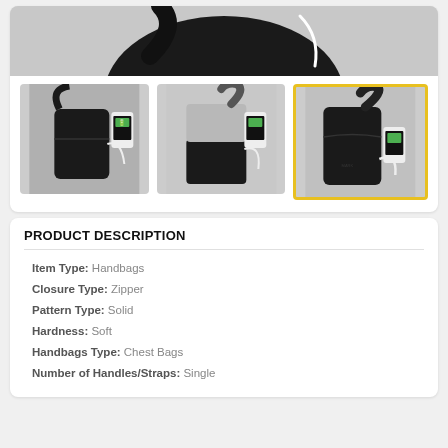[Figure (photo): Top portion of a black chest/sling bag with USB charging cable, gray background]
[Figure (photo): Thumbnail 1: Black sling bag with USB phone charging cable and phone showing green battery icon]
[Figure (photo): Thumbnail 2: Two-tone gray and black sling bag with USB charging cable and phone, gray background]
[Figure (photo): Thumbnail 3 (selected, yellow border): All-black sling bag with USB charging cable and phone, gray background]
PRODUCT DESCRIPTION
Item Type: Handbags
Closure Type: Zipper
Pattern Type: Solid
Hardness: Soft
Handbags Type: Chest Bags
Number of Handles/Straps: Single